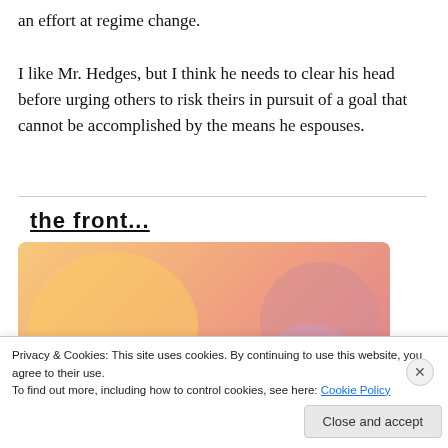an effort at regime change.

I like Mr. Hedges, but I think he needs to clear his head before urging others to risk theirs in pursuit of a goal that cannot be accomplished by the means he espouses.
[Figure (illustration): Partial view of an advertisement. Top shows bold underlined text 'the front...' cut off. Below is a colorful card with orange/pink gradient blobs and bold text reading 'WordPress in the back.']
Privacy & Cookies: This site uses cookies. By continuing to use this website, you agree to their use.
To find out more, including how to control cookies, see here: Cookie Policy
Close and accept